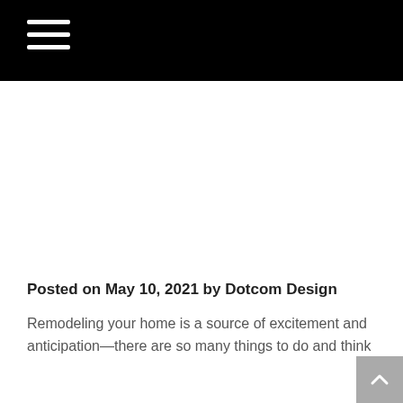Navigation menu (hamburger icon on black background)
Posted on May 10, 2021 by Dotcom Design
Remodeling your home is a source of excitement and anticipation—there are so many things to do and think